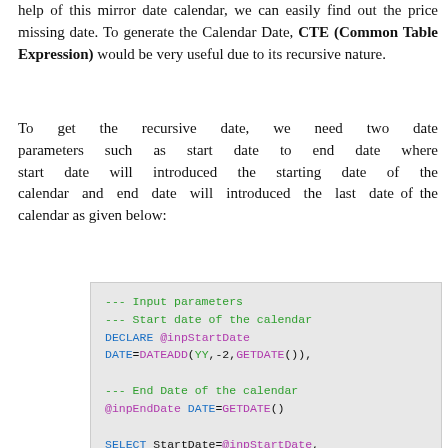help of this mirror date calendar, we can easily find out the price missing date. To generate the Calendar Date, CTE (Common Table Expression) would be very useful due to its recursive nature.
To get the recursive date, we need two date parameters such as start date to end date where start date will introduced the starting date of the calendar and end date will introduced the last date of the calendar as given below:
[Figure (screenshot): SQL code block showing input parameters declaration: DECLARE @inpStartDate DATE=DATEADD(YY,-2,GETDATE()), then end date: @inpEndDate DATE=GETDATE(), then SELECT StartDate=@inpStartDate, EndDate=@inpEndDate]